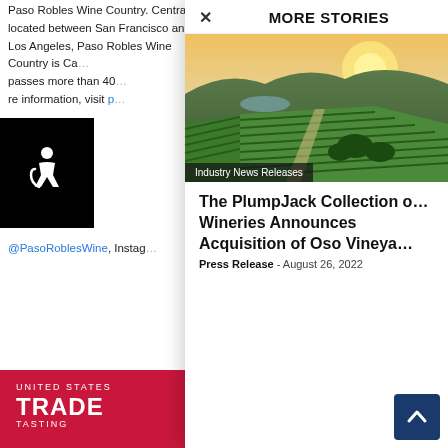Paso Robles Wine Country. Centrally located between San Francisco and Los Angeles, Paso Robles Wine Country is Ca... passes more than 40... re information, visit p... @PasoRoblesWine, Instag...
[Figure (logo): Accessibility icon - wheelchair symbol in white on black background]
[Figure (photo): Advertisement banner: United States Trade Tasting with photo of man in suit on red background]
TAGS
PASO ROBLES WINE COUN...
[Figure (photo): Aerial vineyard photo showing green rows of vines with hills and sunset in background]
Industry News Releases
The PlumpJack Collection o... Wineries Announces Acquisition of Oso Vineya...
Press Release - August 26, 2022
[Figure (infographic): Social share bar with share icon, Facebook (f), Twitter (t), LinkedIn (in) buttons, and orange/red button]